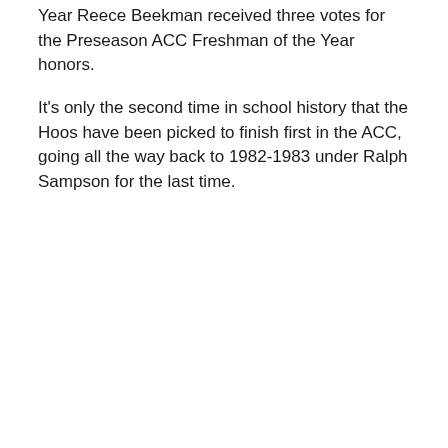Year Reece Beekman received three votes for the Preseason ACC Freshman of the Year honors.
It's only the second time in school history that the Hoos have been picked to finish first in the ACC, going all the way back to 1982-1983 under Ralph Sampson for the last time.
[Figure (screenshot): Embedded tweet from @ByDavidTeel: '#UVA No. 1 in @accmbb preseason poll for only second time. First was 1982-83, Ralph Sampson's senior year.' Posted at 1:31 PM · Nov 11, 2020. 51 likes, Reply, Copy link actions.]